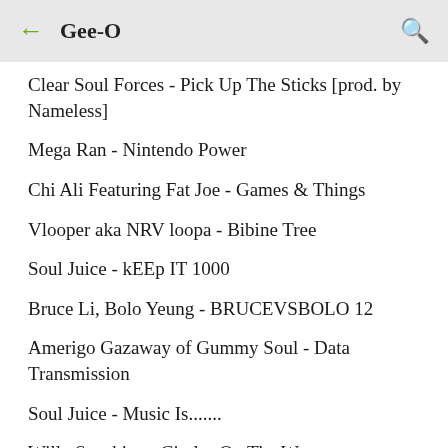Gee-O
Clear Soul Forces - Pick Up The Sticks [prod. by Nameless]
Mega Ran - Nintendo Power
Chi Ali Featuring Fat Joe - Games & Things
Vlooper aka NRV loopa - Bibine Tree
Soul Juice - kEEp IT 1000
Bruce Li, Bolo Yeung - BRUCEVSBOLO 12
Amerigo Gazaway of Gummy Soul - Data Transmission
Soul Juice - Music Is.......
Willy Sunshine - Circles On The Water
Theme Featuring Genesis Elijah - Shine and Take